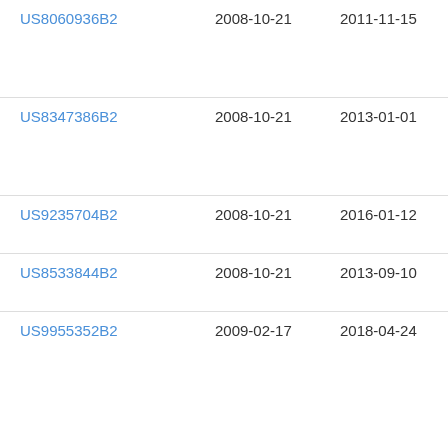| Patent | Filed | Published | Type |
| --- | --- | --- | --- |
| US8060936B2 | 2008-10-21 | 2011-11-15 | Loc |
| US8347386B2 | 2008-10-21 | 2013-01-01 | Loc |
| US9235704B2 | 2008-10-21 | 2016-01-12 | Loc |
| US8533844B2 | 2008-10-21 | 2013-09-10 | Loc |
| US9955352B2 | 2009-02-17 | 2018-04-24 | Loc |